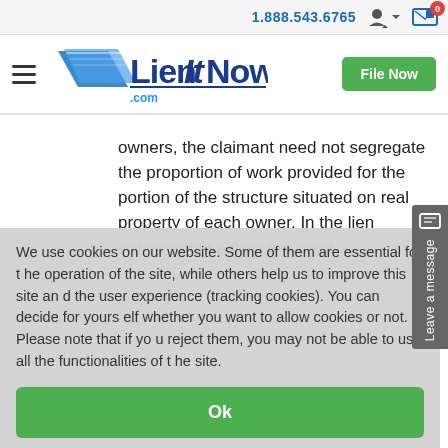1.888.543.6765
[Figure (logo): LienItNow.com logo with blue diagonal graphic and text]
owners, the claimant need not segregate the proportion of work provided for the portion of the structure situated on real property of each owner. In the lien enforcement action the court
We use cookies on our website. Some of them are essential for the operation of the site, while others help us to improve this site and the user experience (tracking cookies). You can decide for yourself whether you want to allow cookies or not. Please note that if you reject them, you may not be able to use all the functionalities of the site.
Ok
Decline